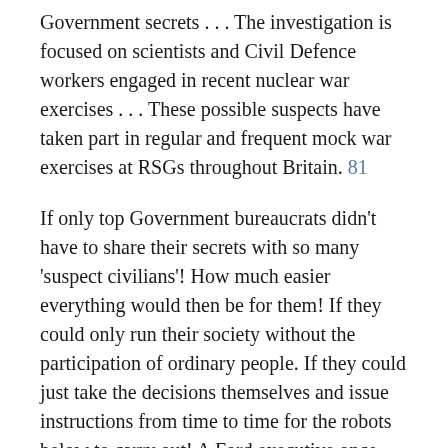Government secrets . . . The investigation is focused on scientists and Civil Defence workers engaged in recent nuclear war exercises . . . These possible suspects have taken part in regular and frequent mock war exercises at RSGs throughout Britain. 81
If only top Government bureaucrats didn't have to share their secrets with so many 'suspect civilians'! How much easier everything would then be for them! If they could only run their society without the participation of ordinary people. If they could just take the decisions themselves and issue instructions from time to time for the robots below to carry out! A Ford executive once said that 'the trouble with industry today is that it is full of men'. The same deplorable state of affairs seems to apply to Civil Defence.